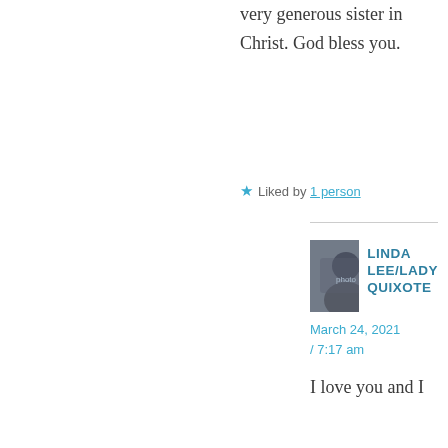very generous sister in Christ. God bless you.
★ Liked by 1 person
LINDA LEE/LADY QUIXOTE
March 24, 2021 / 7:17 am
I love you and I